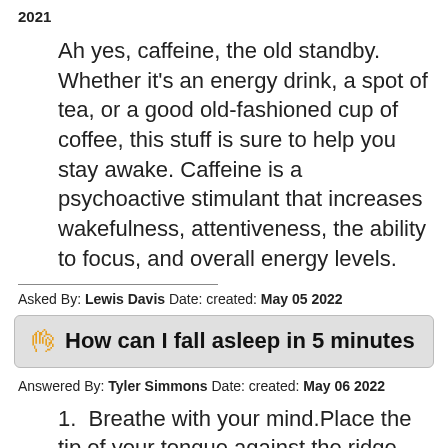2021
Ah yes, caffeine, the old standby. Whether it’s an energy drink, a spot of tea, or a good old-fashioned cup of coffee, this stuff is sure to help you stay awake. Caffeine is a psychoactive stimulant that increases wakefulness, attentiveness, the ability to focus, and overall energy levels.
Asked By: Lewis Davis Date: created: May 05 2022
How can I fall asleep in 5 minutes
Answered By: Tyler Simmons Date: created: May 06 2022
1. Breathe with your mind.Place the tip of your tongue against the ridge behind your upper teeth throughout the